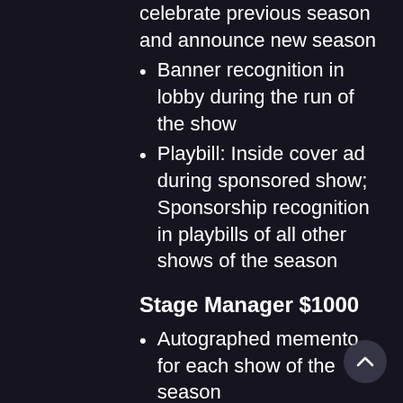celebrate previous season and announce new season
Banner recognition in lobby during the run of the show
Playbill: Inside cover ad during sponsored show; Sponsorship recognition in playbills of all other shows of the season
Stage Manager $1000
Autographed memento for each show of the season
Popcorn Punch card
Playbill recognition
Star $500
Autographed memento for